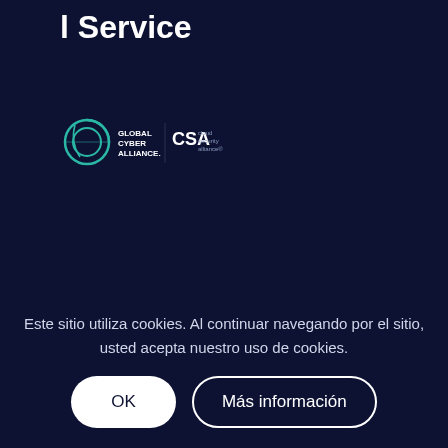l Service
[Figure (logo): Global Cyber Alliance logo and CSA cloud security alliance logo side by side on dark navy background]
Conocimiento
¿Qué es la autenticación del correo electrónico?
¿Qué es DMARC?
Este sitio utiliza cookies. Al continuar navegando por el sitio, usted acepta nuestro uso de cookies.
OK
Más información